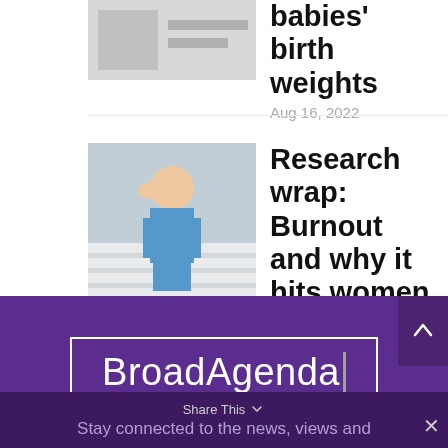[Figure (photo): Partially visible thumbnail photo at top of page]
babies' birth weights
Aug 16, 2022
[Figure (photo): Photo of a person in blue scrubs sitting on steps, looking stressed, holding their head]
Research wrap: Burnout and why it hits women harder
Aug 12, 2022
[Figure (logo): BroadAgenda logo in white text inside a white-bordered rectangle on purple background]
Stay connected to the news, views and